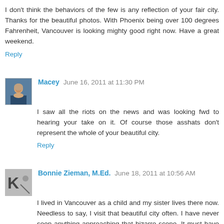I don't think the behaviors of the few is any reflection of your fair city. Thanks for the beautiful photos. With Phoenix being over 100 degrees Fahrenheit, Vancouver is looking mighty good right now. Have a great weekend.
Reply
Macey  June 16, 2011 at 11:30 PM
I saw all the riots on the news and was looking fwd to hearing your take on it. Of course those asshats don't represent the whole of your beautiful city.
Reply
Bonnie Zieman, M.Ed.  June 18, 2011 at 10:56 AM
I lived in Vancouver as a child and my sister lives there now. Needless to say, I visit that beautiful city often. I have never seen anything approaching that bizarre scene. It must have been a group of drunk hooligans.
Reply